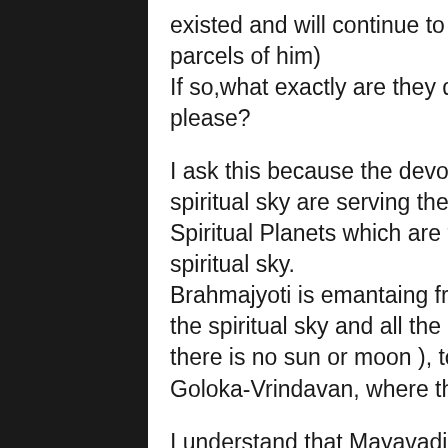existed and will continue to do so and are parts and parcels of him)
If so,what exactly are they doing in the Brahmajyoti please?
I ask this because the devotee's that attain the spiritual sky are serving the Lord and live on the Spiritual Planets which are floating in the Brahmajyoti spiritual sky.
Brahmajyoti is emantaing from Lord and lighting up the spiritual sky and all the planets in the spiritual sky ( there is no sun or moon ), top most of which is Goloka-Vrindavan, where the Lord eternally resides.
I understand that Mayavadi philosophy says we merge in with the Supreme and become one with God, but I think being liberated and reaching Brahmajyoti means you merge in with the Brahmajyoti but you can come out with Brahmajoyi...